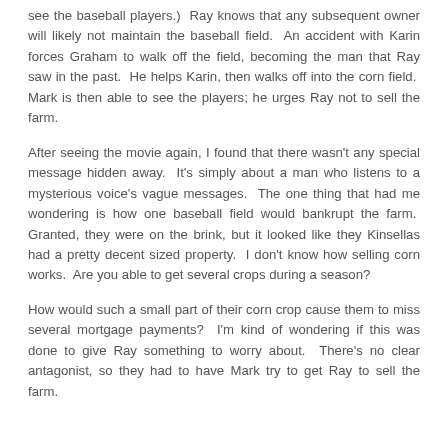see the baseball players.)  Ray knows that any subsequent owner will likely not maintain the baseball field.  An accident with Karin forces Graham to walk off the field, becoming the man that Ray saw in the past.  He helps Karin, then walks off into the corn field.  Mark is then able to see the players; he urges Ray not to sell the farm.
After seeing the movie again, I found that there wasn't any special message hidden away.  It's simply about a man who listens to a mysterious voice's vague messages.  The one thing that had me wondering is how one baseball field would bankrupt the farm.  Granted, they were on the brink, but it looked like they Kinsellas had a pretty decent sized property.  I don't know how selling corn works.  Are you able to get several crops during a season?
How would such a small part of their corn crop cause them to miss several mortgage payments?  I'm kind of wondering if this was done to give Ray something to worry about.  There's no clear antagonist, so they had to have Mark try to get Ray to sell the farm.